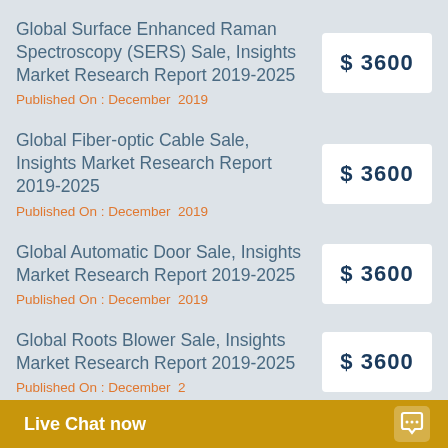Global Surface Enhanced Raman Spectroscopy (SERS) Sale, Insights Market Research Report 2019-2025
Published On : December  2019
$3600
Global Fiber-optic Cable Sale, Insights Market Research Report 2019-2025
Published On : December  2019
$3600
Global Automatic Door Sale, Insights Market Research Report 2019-2025
Published On : December  2019
$3600
Global Roots Blower Sale, Insights Market Research Report 2019-2025
Published On : December  2
$3600
Live Chat now